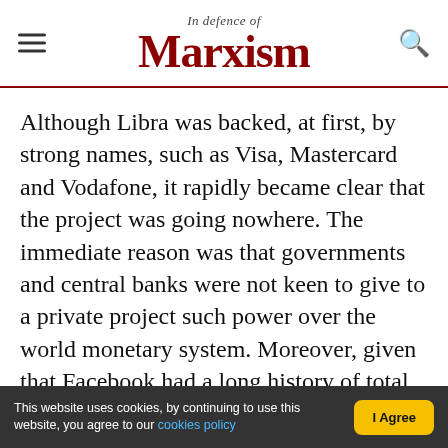In Defence of Marxism
Although Libra was backed, at first, by strong names, such as Visa, Mastercard and Vodafone, it rapidly became clear that the project was going nowhere. The immediate reason was that governments and central banks were not keen to give to a private project such power over the world monetary system. Moreover, given that Facebook had a long history of total indifference on privacy issues, to say the least, it was also obvious that the financial data of everyone using Libra would have been on sale to the highest bidder.
This website uses cookies, by continuing to use this website, you agree to our cookies policy | I Agree